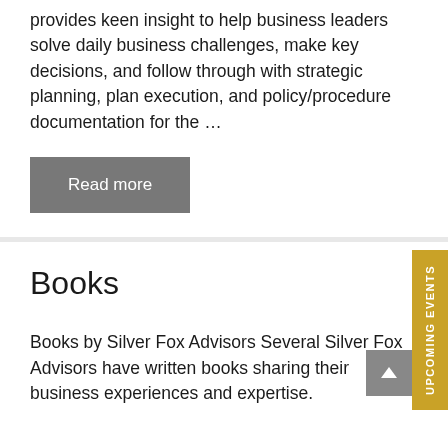provides keen insight to help business leaders solve daily business challenges, make key decisions, and follow through with strategic planning, plan execution, and policy/procedure documentation for the …
Read more
Books
Books by Silver Fox Advisors Several Silver Fox Advisors have written books sharing their business experiences and expertise.